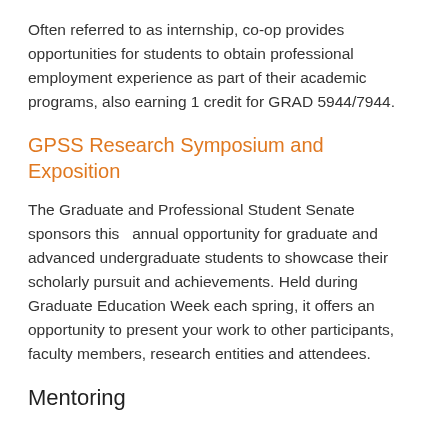Often referred to as internship, co-op provides opportunities for students to obtain professional employment experience as part of their academic programs, also earning 1 credit for GRAD 5944/7944.
GPSS Research Symposium and Exposition
The Graduate and Professional Student Senate sponsors this  annual opportunity for graduate and advanced undergraduate students to showcase their scholarly pursuit and achievements. Held during Graduate Education Week each spring, it offers an opportunity to present your work to other participants, faculty members, research entities and attendees.
Mentoring